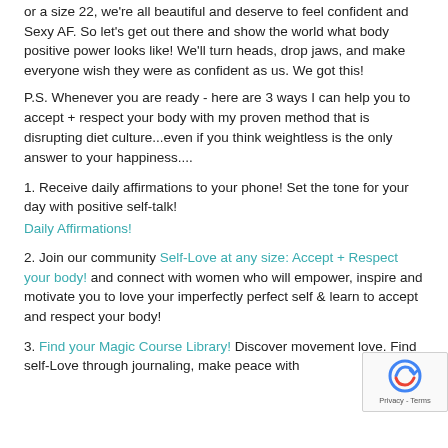or a size 22, we're all beautiful and deserve to feel confident and Sexy AF. So let's get out there and show the world what body positive power looks like! We'll turn heads, drop jaws, and make everyone wish they were as confident as us. We got this!
P.S. Whenever you are ready - here are 3 ways I can help you to accept + respect your body with my proven method that is disrupting diet culture...even if you think weightless is the only answer to your happiness....
1. Receive daily affirmations to your phone! Set the tone for your day with positive self-talk! Daily Affirmations!
2. Join our community Self-Love at any size: Accept + Respect your body! and connect with women who will empower, inspire and motivate you to love your imperfectly perfect self & learn to accept and respect your body!
3. Find your Magic Course Library! Discover movement love. Find self-Love through journaling, make peace with